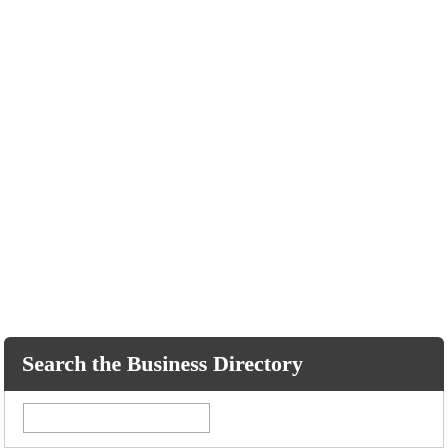Search the Business Directory
[Figure (screenshot): Search input field for the Business Directory]